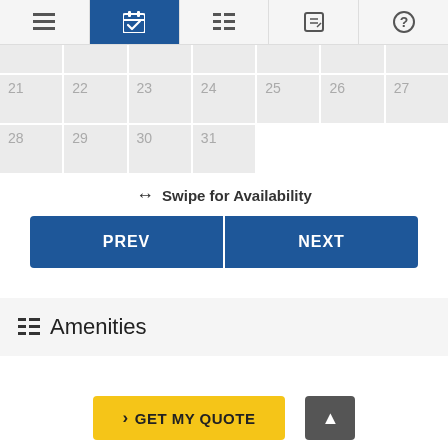Navigation bar with icons: menu, calendar (active), list, edit, help
[Figure (screenshot): Calendar grid showing dates 21-27 and 28-31 in a monthly calendar view with grey cells]
↔ Swipe for Availability
PREV
NEXT
Amenities
> GET MY QUOTE